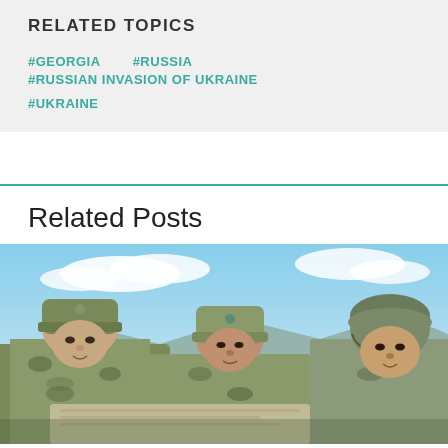RELATED TOPICS
#GEORGIA
#RUSSIA
#RUSSIAN INVASION OF UKRAINE
#UKRAINE
Related Posts
[Figure (photo): Three soldiers in camouflage uniforms and military helmets/caps, looking down at something together, with a blue sky and clouds in the background.]